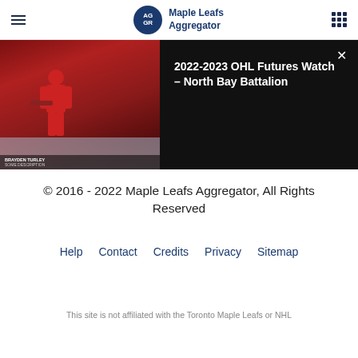Maple Leafs Aggregator
[Figure (screenshot): Hockey player skating on ice in red uniform, banner/modal overlay showing article title]
2022-2023 OHL Futures Watch – North Bay Battalion
© 2016 - 2022 Maple Leafs Aggregator, All Rights Reserved
Help
Contact
Credits
Privacy
Sitemap
This site is not affiliated with the Toronto Maple Leafs or NHL